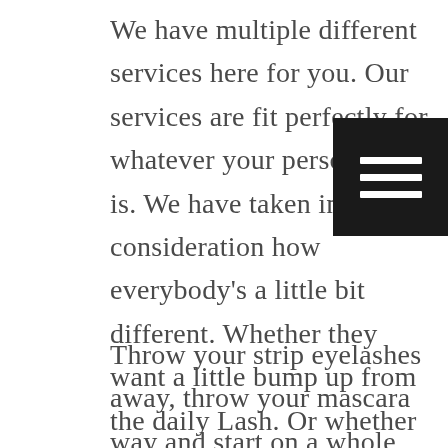We have multiple different services here for you. Our services are fit perfectly for whatever your personality is. We have taken into consideration how everybody's a little bit different. Whether they want a little bump up from the daily Lash. Or whether they want something sassy and unforgettable. We have all of the tools here that you need to look absolutely stunning.
[Figure (other): Hamburger menu icon — three horizontal white bars on a black rounded square background]
Throw your strip eyelashes away, throw your mascara way and start on a whole new journey to enlightenment. You'll be